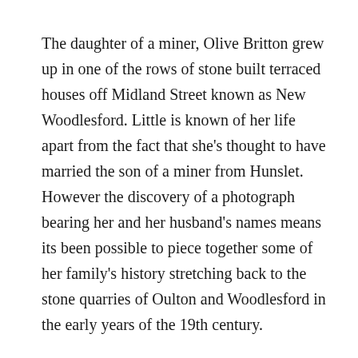The daughter of a miner, Olive Britton grew up in one of the rows of stone built terraced houses off Midland Street known as New Woodlesford. Little is known of her life apart from the fact that she's thought to have married the son of a miner from Hunslet. However the discovery of a photograph bearing her and her husband's names means its been possible to piece together some of her family's history stretching back to the stone quarries of Oulton and Woodlesford in the early years of the 19th century.
The photograph, in the form of a postcard